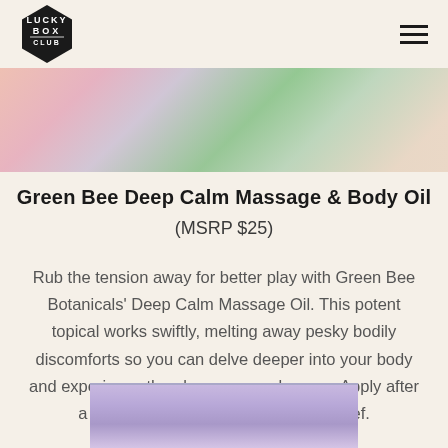Lucky Box Club
[Figure (photo): Top portion of a spa/wellness product photo showing pink flowers, green leaves, and pastel colored items on a light background]
Green Bee Deep Calm Massage & Body Oil
(MSRP $25)
Rub the tension away for better play with Green Bee Botanicals' Deep Calm Massage Oil. This potent topical works swiftly, melting away pesky bodily discomforts so you can delve deeper into your body and experience the pleasure you deserve. Apply after a hot, relaxing bath for even more relief.
[Figure (photo): Bottom portion showing a purple/lavender colored product package or bar]